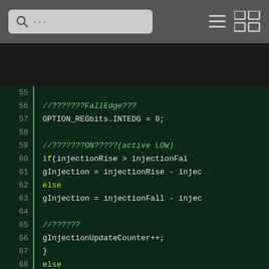[Figure (screenshot): Code editor toolbar with search box, hamburger menu, and grid icon on dark gray background]
Source code lines 55-77 showing embedded C microcontroller code with line numbers, comments, if/else logic for injection rise/fall edge detection, and OPTION_REGbits.INTEDG register assignments